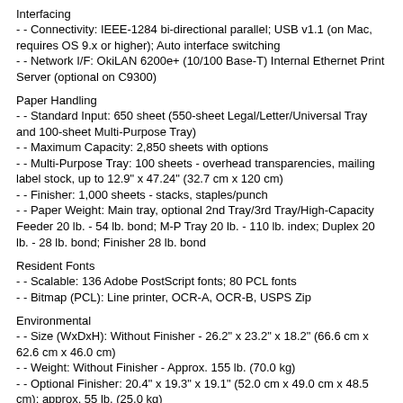Interfacing
- - Connectivity: IEEE-1284 bi-directional parallel; USB v1.1 (on Mac, requires OS 9.x or higher); Auto interface switching
- - Network I/F: OkiLAN 6200e+ (10/100 Base-T) Internal Ethernet Print Server (optional on C9300)
Paper Handling
- - Standard Input: 650 sheet (550-sheet Legal/Letter/Universal Tray and 100-sheet Multi-Purpose Tray)
- - Maximum Capacity: 2,850 sheets with options
- - Multi-Purpose Tray: 100 sheets - overhead transparencies, mailing label stock, up to 12.9" x 47.24" (32.7 cm x 120 cm)
- - Finisher: 1,000 sheets - stacks, staples/punch
- - Paper Weight: Main tray, optional 2nd Tray/3rd Tray/High-Capacity Feeder 20 lb. - 54 lb. bond; M-P Tray 20 lb. - 110 lb. index; Duplex 20 lb. - 28 lb. bond; Finisher 28 lb. bond
Resident Fonts
- - Scalable: 136 Adobe PostScript fonts; 80 PCL fonts
- - Bitmap (PCL): Line printer, OCR-A, OCR-B, USPS Zip
Environmental
- - Size (WxDxH): Without Finisher - 26.2" x 23.2" x 18.2" (66.6 cm x 62.6 cm x 46.0 cm)
- - Weight: Without Finisher - Approx. 155 lb. (70.0 kg)
- - Optional Finisher: 20.4" x 19.3" x 19.1" (52.0 cm x 49.0 cm x 48.5 cm); approx. 55 lb. (25.0 kg)